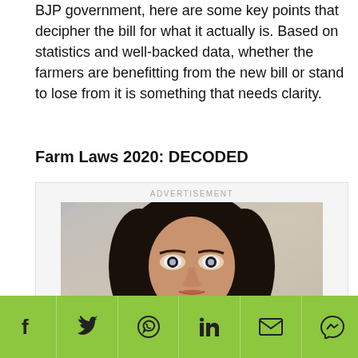BJP government, here are some key points that decipher the bill for what it actually is. Based on statistics and well-backed data, whether the farmers are benefitting from the new bill or stand to lose from it is something that needs clarity.
Farm Laws 2020: DECODED
[Figure (photo): Advertisement banner showing a woman's face with the caption '10 Extremely Gorgeous Asian Actresses']
Social share bar with Facebook, Twitter, WhatsApp, LinkedIn, Email, and Messenger icons